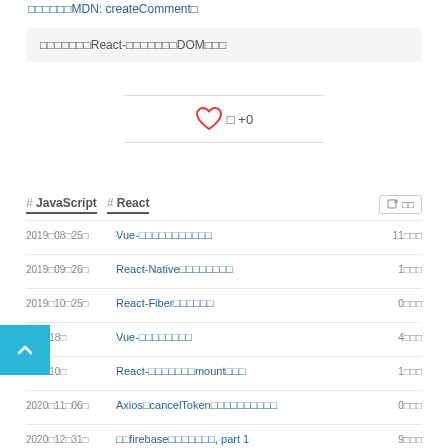□□□□□□MDN: createComment□
□□□□□□□React-□□□□□□□DOM□□□
[Figure (other): Heart icon with like count: □ +0]
# JavaScript  # React
2019□08□25□  Vue-□□□□□□□□□□□  11□□□
2019□09□26□  React-Native□□□□□□□□  1□□□
2019□10□25□  React-Fiber□□□□□□  0□□□
□08□18□  Vue-□□□□□□□□  4□□□
□12□10□  React-□□□□□□□mount□□□  1□□□
2020□11□06□  Axios□cancelToken□□□□□□□□□□  0□□□
2020□12□31□  □□firebase□□□□□□□, part 1  9□□□